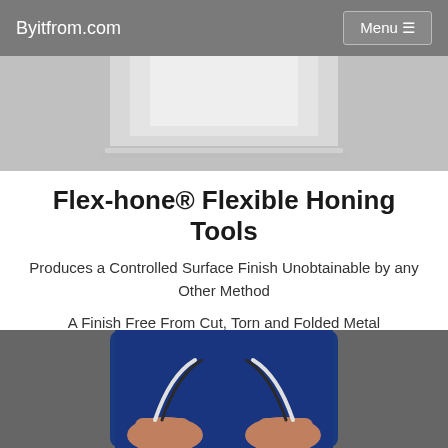Byitfrom.com | Menu
[Figure (photo): Top portion of a product image showing a honing tool against a light gray background with a shelf/platform visible]
Flex-hone® Flexible Honing Tools
Produces a Controlled Surface Finish Unobtainable by any Other Method
A Finish Free From Cut, Torn and Folded Metal
[Figure (photo): Photo of two hands holding flexible honing tools bent into a curved/arc shape against a dark blue background, demonstrating the flexibility of the Flex-hone tool]